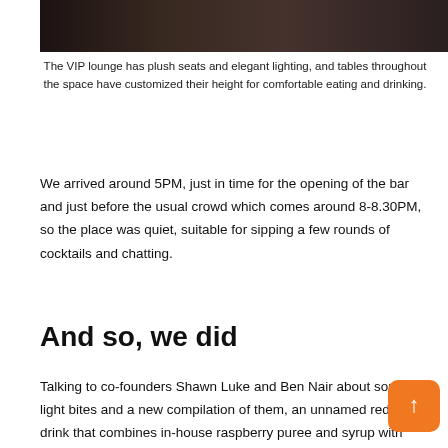[Figure (photo): Dark photograph of VIP lounge interior showing tables and seating area]
The VIP lounge has plush seats and elegant lighting, and tables throughout the space have customized their height for comfortable eating and drinking.
We arrived around 5PM, just in time for the opening of the bar and just before the usual crowd which comes around 8-8.30PM, so the place was quiet, suitable for sipping a few rounds of cocktails and chatting.
And so, we did
Talking to co-founders Shawn Luke and Ben Nair about some light bites and a new compilation of them, an unnamed red drink that combines in-house raspberry puree and syrup with Proseco, we learned